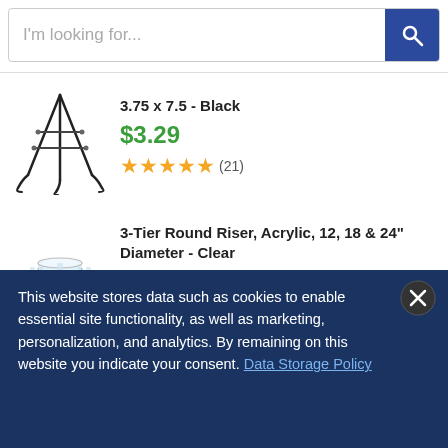[Figure (screenshot): Search bar with placeholder text 'I'm looking for...' and blue search button with magnifying glass icon]
3.75 x 7.5 - Black
$3.29
★★★★★ (21)
[Figure (photo): Black wire easel/plate stand]
3-Tier Round Riser, Acrylic, 12, 18 & 24" Diameter - Clear
$132.99
★★★★☆ (4)
[Figure (photo): Clear acrylic 3-tier round riser display stand]
This website stores data such as cookies to enable essential site functionality, as well as marketing, personalization, and analytics. By remaining on this website you indicate your consent. Data Storage Policy